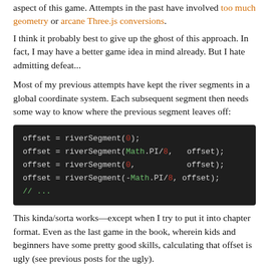aspect of this game. Attempts in the past have involved too much geometry or arcane Three.js conversions.
I think it probably best to give up the ghost of this approach. In fact, I may have a better game idea in mind already. But I hate admitting defeat...
Most of my previous attempts have kept the river segments in a global coordinate system. Each subsequent segment then needs some way to know where the previous segment leaves off:
[Figure (screenshot): Code block showing JavaScript: offset = riverSegment(0); offset = riverSegment(Math.PI/8, offset); offset = riverSegment(0, offset); offset = riverSegment(-Math.PI/8, offset); // ...]
This kinda/sorta works—except when I try to put it into chapter format. Even as the last game in the book, wherein kids and beginners have some pretty good skills, calculating that offset is ugly (see previous posts for the ugly).
But what if I do not use a global coordinate system? What if